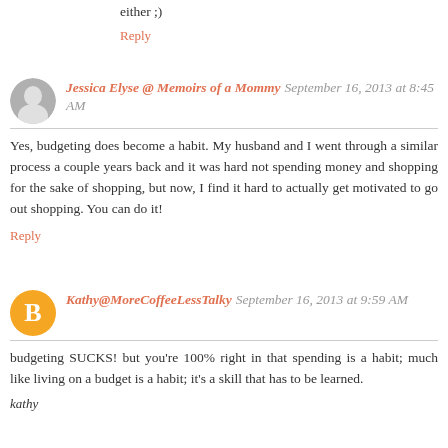either ;)
Reply
Jessica Elyse @ Memoirs of a Mommy September 16, 2013 at 8:45 AM
Yes, budgeting does become a habit. My husband and I went through a similar process a couple years back and it was hard not spending money and shopping for the sake of shopping, but now, I find it hard to actually get motivated to go out shopping. You can do it!
Reply
Kathy@MoreCoffeeLessTalky September 16, 2013 at 9:59 AM
budgeting SUCKS! but you're 100% right in that spending is a habit; much like living on a budget is a habit; it's a skill that has to be learned.
kathy